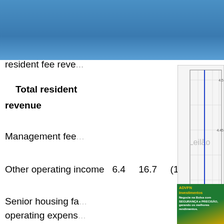resident fee reve...
Total resident revenue
Management fee...
Other operating income   6.4     16.7     (16.5)   (36...
Senior housing fa... operating expens...
[Figure (continuous-plot): Stock price chart with Leilão watermark, showing a vertical blue line around 1000 time mark dropping from ~4.5 to ~4.4. X-axis shows times 0600-1600, Y-axis shows 4.4-4.5. Source: (c) www.advfn.com]
[Figure (infographic): ADVFN Investimentos advertisement: green background with yellow accent. Text: ADVFN Investimentos, Negocie na Bolsa com SEGURANÇA e PRECISÃO, gerando os melhores rendimentos. INSCRIÇÃO button.]